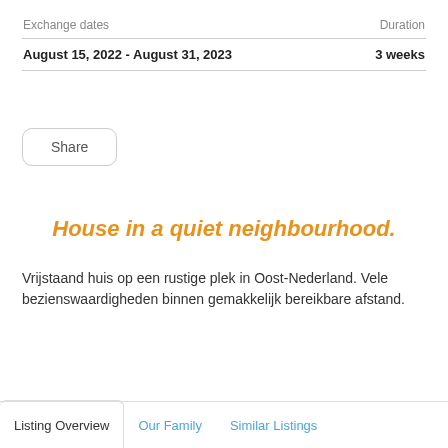| Exchange dates | Duration |
| --- | --- |
| August 15, 2022 - August 31, 2023 | 3 weeks |
Share
House in a quiet neighbourhood.
Vrijstaand huis op een rustige plek in Oost-Nederland. Vele bezienswaardigheden binnen gemakkelijk bereikbare afstand.
Listing Overview  Our Family  Similar Listings